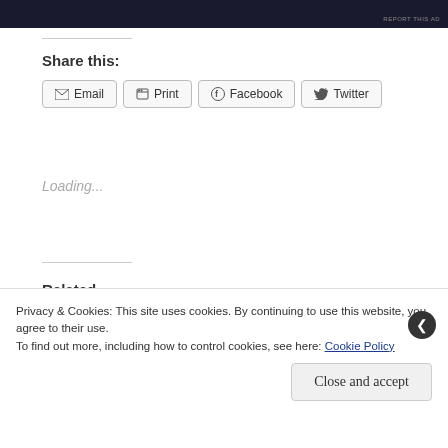[Figure (other): Dark ad banner at top of page]
REPORT THIS AD
Share this:
Email  Print  Facebook  Twitter
Loading...
Related
Privacy & Cookies: This site uses cookies. By continuing to use this website, you agree to their use.
To find out more, including how to control cookies, see here: Cookie Policy
Close and accept